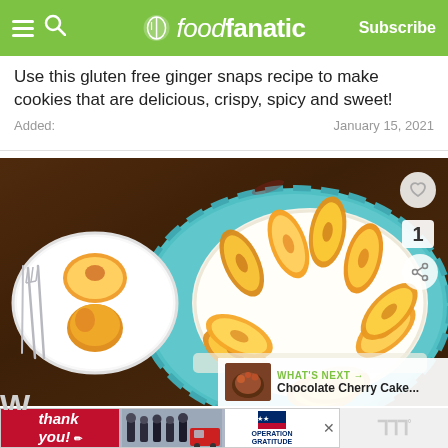foodfanatic — Subscribe
Use this gluten free ginger snaps recipe to make cookies that are delicious, crispy, spicy and sweet!
Added: January 15, 2021
[Figure (photo): Overhead view of a white frosted cake topped with arranged peach slices on a teal ruffled plate, with peach halves and silverware on a white plate in the background on a dark wooden table.]
WHAT'S NEXT → Chocolate Cherry Cake...